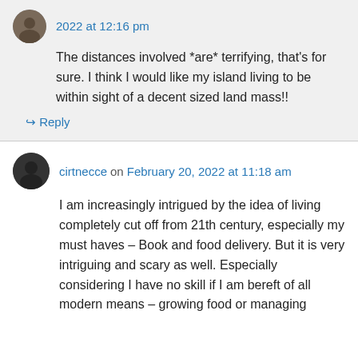2022 at 12:16 pm
The distances involved *are* terrifying, that's for sure. I think I would like my island living to be within sight of a decent sized land mass!!
↪ Reply
cirtnecce on February 20, 2022 at 11:18 am
I am increasingly intrigued by the idea of living completely cut off from 21th century, especially my must haves – Book and food delivery. But it is very intriguing and scary as well. Especially considering I have no skill if I am bereft of all modern means – growing food or managing